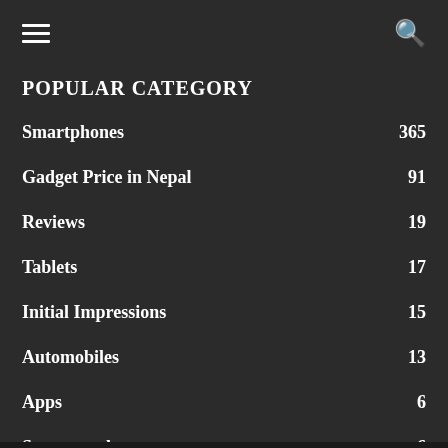≡ (menu) and search icon
POPULAR CATEGORY
Smartphones 365
Gadget Price in Nepal 91
Reviews 19
Tablets 17
Initial Impressions 15
Automobiles 13
Apps 6
Smartwatch 6
news 4